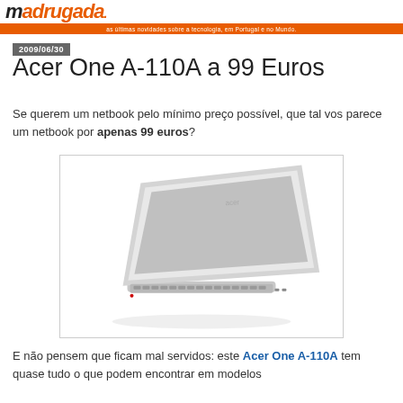madrugada - as últimas novidades sobre a tecnologia, em Portugal e no Mundo.
2009/06/30
Acer One A-110A a 99 Euros
Se querem um netbook pelo mínimo preço possível, que tal vos parece um netbook por apenas 99 euros?
[Figure (photo): Acer One A-110A netbook shown at an angle, silver/white color, lid open showing keyboard]
E não pensem que ficam mal servidos: este Acer One A-110A tem quase tudo o que podem encontrar em modelos